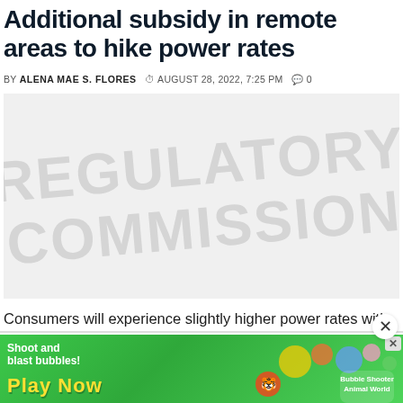Additional subsidy in remote areas to hike power rates
BY ALENA MAE S. FLORES  ⏱ AUGUST 28, 2022, 7:25 PM  💬 0
[Figure (photo): Watermarked placeholder image with regulatory commission logo/watermark text in light gray]
Consumers will experience slightly higher power rates with the Energy Regulatory Commission's issuance of a resolution that allows the collection...
[Figure (other): Advertisement banner: green background with 'Shoot and blast bubbles! Play Now' text and game characters. Bubble Shooter Animal World game ad.]